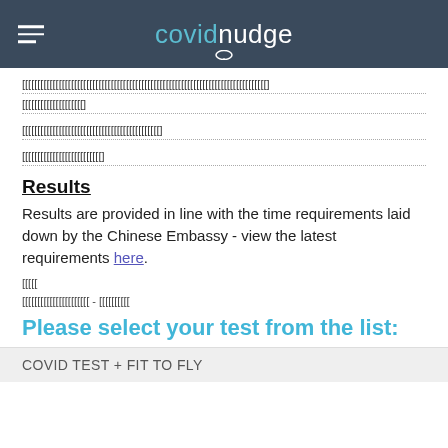covidnudge
[garbled text lines]
Results
Results are provided in line with the time requirements laid down by the Chinese Embassy - view the latest requirements here.
[garbled short text]
[garbled text] - [garbled link text]
Please select your test from the list:
COVID TEST + FIT TO FLY